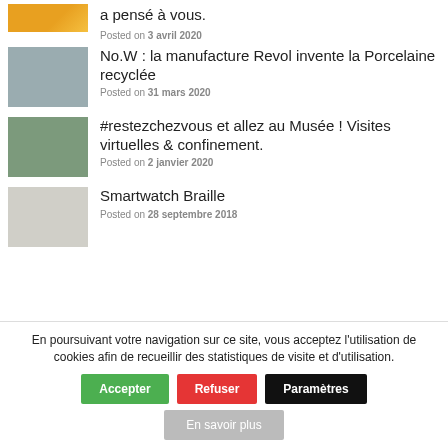[Figure (photo): Partial yellow image thumbnail at top]
a pensé à vous.
Posted on 3 avril 2020
[Figure (photo): Gray blurred photo thumbnail of porcelain item]
No.W : la manufacture Revol invente la Porcelaine recyclée
Posted on 31 mars 2020
[Figure (photo): Green outdoor/building photo thumbnail]
#restezchezvous et allez au Musée ! Visites virtuelles & confinement.
Posted on 2 janvier 2020
[Figure (photo): Light gray photo thumbnail of braille smartwatch]
Smartwatch Braille
Posted on 28 septembre 2018
En poursuivant votre navigation sur ce site, vous acceptez l'utilisation de cookies afin de recueillir des statistiques de visite et d'utilisation.
Accepter
Refuser
Paramètres
En savoir plus